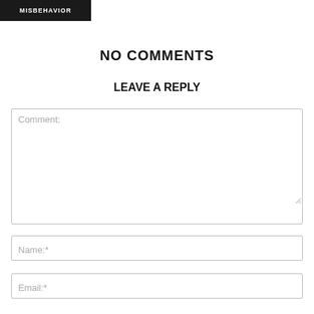[Figure (photo): Dark image with bold white uppercase text 'MISBEHAVIOR' in the top-left corner]
NO COMMENTS
LEAVE A REPLY
Comment:
Name:*
Email:*